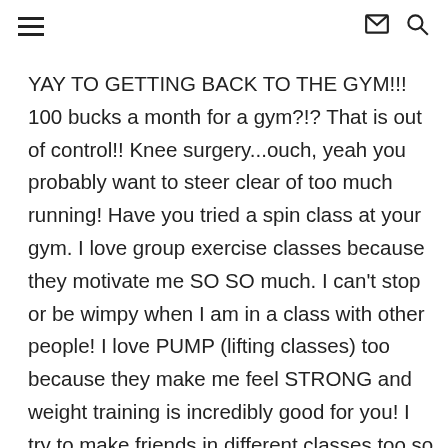≡  ✉  🔍
YAY TO GETTING BACK TO THE GYM!!! 100 bucks a month for a gym?!? That is out of control!! Knee surgery...ouch, yeah you probably want to steer clear of too much running! Have you tried a spin class at your gym. I love group exercise classes because they motivate me SO SO much. I can't stop or be wimpy when I am in a class with other people! I love PUMP (lifting classes) too because they make me feel STRONG and weight training is incredibly good for you! I try to make friends in different classes too so that I am excited to go to the class not only to workout but also to see friends! I hope this helps....if you send me your